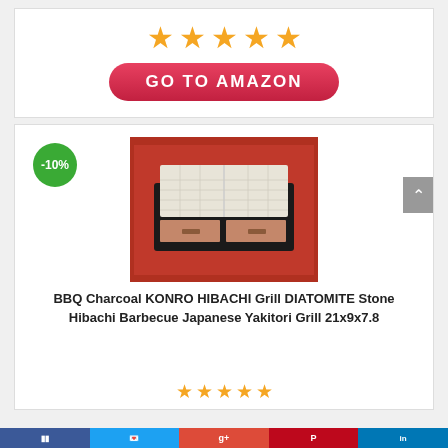[Figure (other): Five orange star rating icons in a row]
[Figure (other): Red pill-shaped button with white text 'GO TO AMAZON']
-10%
[Figure (photo): Photo of a BBQ Charcoal KONRO HIBACHI Grill with diatomite stone construction on red background]
BBQ Charcoal KONRO HIBACHI Grill DIATOMITE Stone Hibachi Barbecue Japanese Yakitori Grill 21x9x7.8
[Figure (other): Five orange star rating icons in a row at bottom]